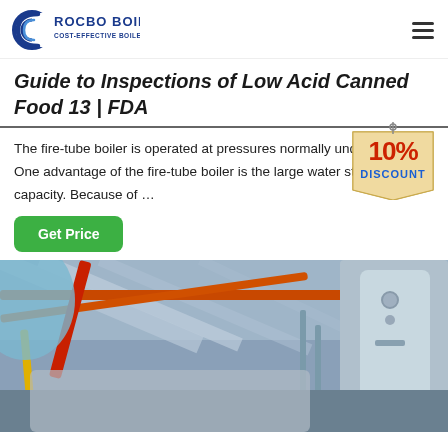[Figure (logo): Rocbo Boiler logo with tagline 'Cost-Effective Boiler Supplier']
Guide to Inspections of Low Acid Canned Food 13 | FDA
The fire-tube boiler is operated at pressures normally under 150 psi. One advantage of the fire-tube boiler is the large water storage capacity. Because of …
[Figure (infographic): 10% Discount badge — red and blue text on beige tag shape]
[Figure (photo): Industrial boiler room interior showing pipes (orange, red, yellow), ceiling structure, and large cylindrical boiler tanks]